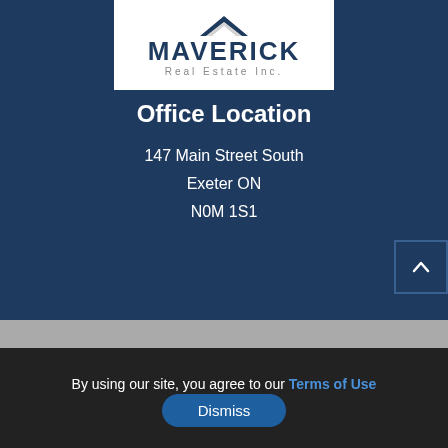[Figure (logo): Maverick Real Estate Inc. logo with dark blue background chevron/roof icon, bold MAVERICK text, and 'Real Estate Inc.' subtitle in gray]
Office Location
147 Main Street South
Exeter ON
N0M 1S1
By using our site, you agree to our Terms of Use
Dismiss